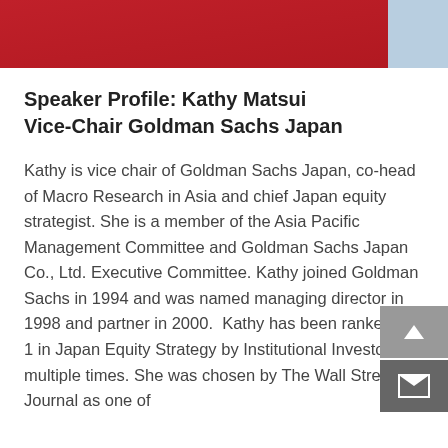[Figure (photo): Partial view of a person wearing a red garment, with a light blue background on the right side. Only the torso/clothing area is visible — cropped speaker photo.]
Speaker Profile: Kathy Matsui Vice-Chair Goldman Sachs Japan
Kathy is vice chair of Goldman Sachs Japan, co-head of Macro Research in Asia and chief Japan equity strategist. She is a member of the Asia Pacific Management Committee and Goldman Sachs Japan Co., Ltd. Executive Committee. Kathy joined Goldman Sachs in 1994 and was named managing director in 1998 and partner in 2000.  Kathy has been ranked No. 1 in Japan Equity Strategy by Institutional Investor multiple times. She was chosen by The Wall Street Journal as one of